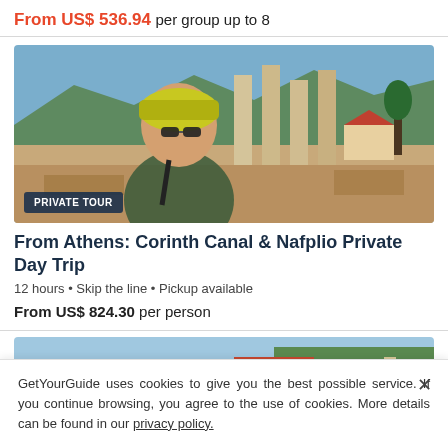From US$ 536.94 per group up to 8
[Figure (photo): Woman with yellow headscarf and sunglasses in front of ancient Greek columns and ruins, sunny day, mountains in background. Badge reads PRIVATE TOUR.]
From Athens: Corinth Canal & Nafplio Private Day Trip
12 hours • Skip the line • Pickup available
From US$ 824.30 per person
[Figure (photo): Aerial view of a Greek town with white and terracotta-roofed buildings, arched structures, and greenery.]
GetYourGuide uses cookies to give you the best possible service. If you continue browsing, you agree to the use of cookies. More details can be found in our privacy policy.